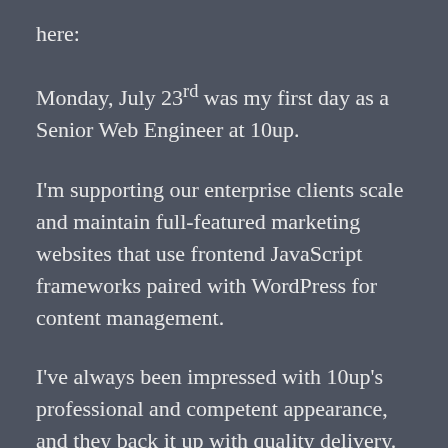here:
Monday, July 23rd was my first day as a Senior Web Engineer at 10up.
I'm supporting our enterprise clients scale and maintain full-featured marketing websites that use frontend JavaScript frameworks paired with WordPress for content management.
I've always been impressed with 10up's professional and competent appearance, and they back it up with quality delivery. Their reputation as a leader in the WordPress space is well deserved. But, I didn't anticipate what it's like to experience this company from the